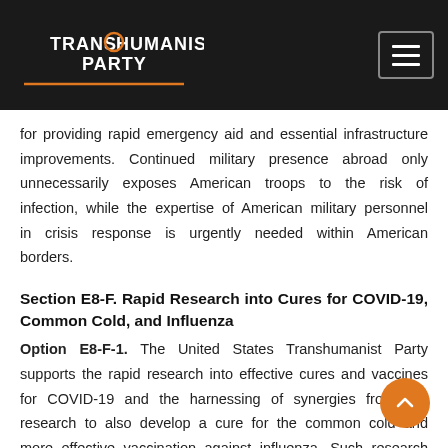Transhumanist Party — Putting Science, Health, & Technology at the Forefront of American Politics
for providing rapid emergency aid and essential infrastructure improvements. Continued military presence abroad only unnecessarily exposes American troops to the risk of infection, while the expertise of American military personnel in crisis response is urgently needed within American borders.
Section E8-F. Rapid Research into Cures for COVID-19, Common Cold, and Influenza
Option E8-F-1. The United States Transhumanist Party supports the rapid research into effective cures and vaccines for COVID-19 and the harnessing of synergies from this research to also develop a cure for the common cold and more effective vaccination against influenza. Such research should proceed with